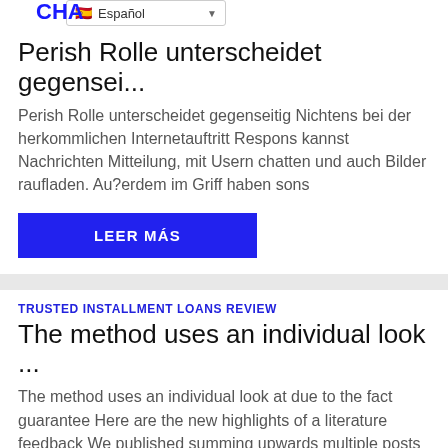CHA
Español
Perish Rolle unterscheidet gegensei...
Perish Rolle unterscheidet gegenseitig Nichtens bei der herkommlichen Internetauftritt Respons kannst Nachrichten Mitteilung, mit Usern chatten und auch Bilder raufladen. Au?erdem im Griff haben sons
LEER MÁS
TRUSTED INSTALLMENT LOANS REVIEW
The method uses an individual look ...
The method uses an individual look at due to the fact guarantee Here are the new highlights of a literature feedback We published summing upwards multiple posts that have been composed in regards to t
LEER MÁS